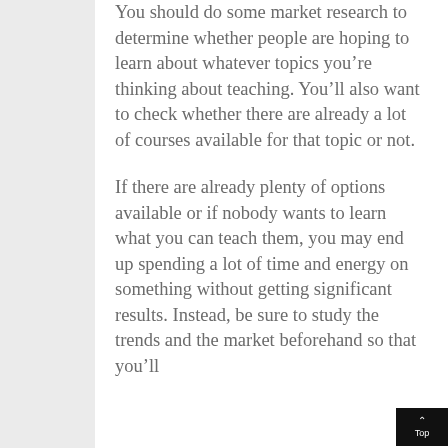You should do some market research to determine whether people are hoping to learn about whatever topics you’re thinking about teaching. You’ll also want to check whether there are already a lot of courses available for that topic or not.
If there are already plenty of options available or if nobody wants to learn what you can teach them, you may end up spending a lot of time and energy on something without getting significant results. Instead, be sure to study the trends and the market beforehand so that you’ll
[Figure (other): Back to top button: black rectangle with upward chevron arrow and the word 'Top' in white text]